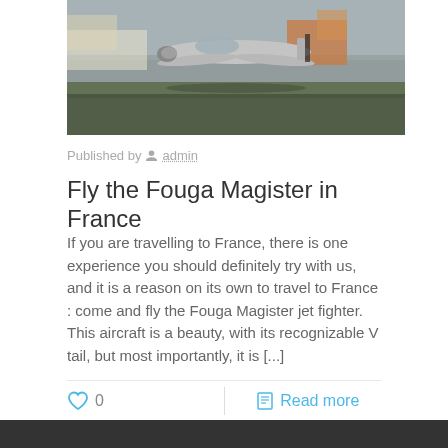[Figure (photo): Photograph of a Fouga Magister jet fighter aircraft on a runway, with background buildings and vehicles visible. The aircraft has a distinctive delta-wing shape and appears to be in motion or just landed.]
Published by admin
Fly the Fouga Magister in France
If you are travelling to France, there is one experience you should definitely try with us, and it is a reason on its own to travel to France : come and fly the Fouga Magister jet fighter. This aircraft is a beauty, with its recognizable V tail, but most importantly, it is [...]
0
Read more